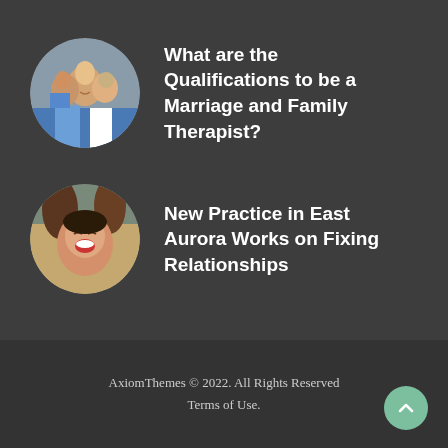[Figure (photo): Circular thumbnail photo of a smiling family/couple in a warm setting]
What are the Qualifications to be a Marriage and Family Therapist?
[Figure (photo): Circular thumbnail photo of a laughing woman being embraced]
New Practice in East Aurora Works on Fixing Relationships
AxiomThemes © 2022. All Rights Reserved Terms of Use.